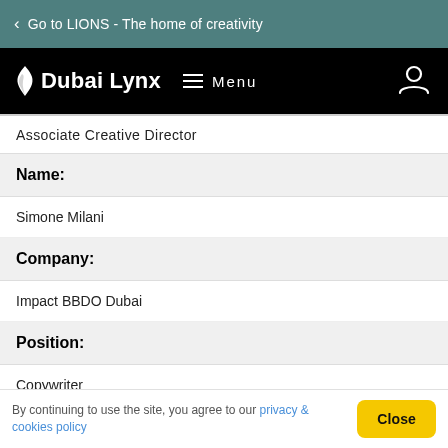Go to LIONS - The home of creativity
[Figure (logo): Dubai Lynx logo and navigation bar with Menu and user icon]
Associate Creative Director
Name:
Simone Milani
Company:
Impact BBDO Dubai
Position:
Copywriter
By continuing to use the site, you agree to our privacy & cookies policy  Close